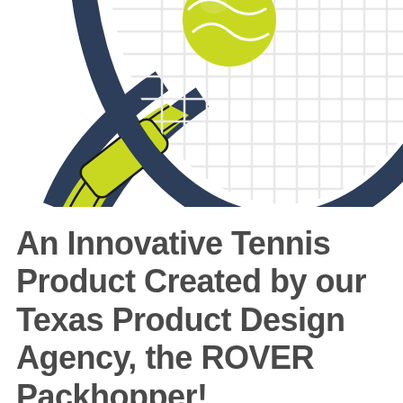[Figure (photo): Close-up photo of a navy blue tennis racket with white strings and a yellow-green tennis ball resting on the frame near the throat of the racket. The racket has a yellow-green accent piece at the throat. White background.]
An Innovative Tennis Product Created by our Texas Product Design Agency, the ROVER Packhopper!